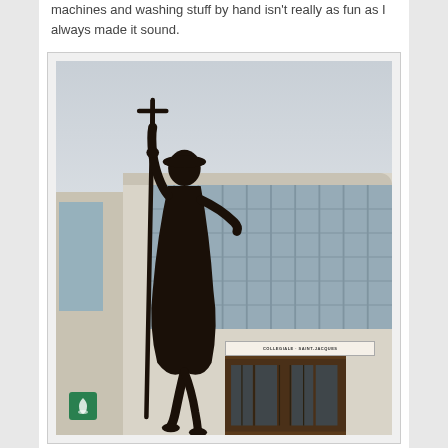machines and washing stuff by hand isn't really as fun as I always made it sound.
[Figure (photo): A bronze statue of a pilgrim (Saint Jacques / Santiago) holding a tall staff with a cross on top, standing in front of a modern glass-facade building labeled 'COLLEGIALE SAINT-JACQUES'. The statue is dark bronze, depicting a robed figure in a walking pose with one leg raised. The sky is overcast gray. The building has a curved glass front with dark framing.]